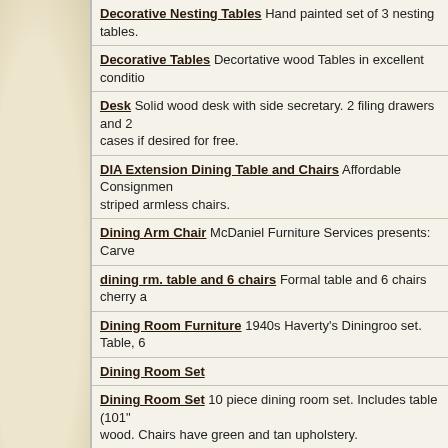Decorative Nesting Tables Hand painted set of 3 nesting tables.
Decorative Tables Decortative wood Tables in excellent conditio...
Desk Solid wood desk with side secretary. 2 filing drawers and 2 cases if desired for free.
DIA Extension Dining Table and Chairs Affordable Consignment... striped armless chairs.
Dining Arm Chair McDaniel Furniture Services presents: Carve...
dining rm. table and 6 chairs Formal table and 6 chairs cherry a...
Dining Room Furniture 1940s Haverty's Diningroo set. Table, 6
Dining Room Set
Dining Room Set 10 piece dining room set. Includes table (101"... wood. Chairs have green and tan upholstery.
Dining Room Set Dining room set - table and 6 chairs - excellen...
Dining Room Set Solid wood Dining room SET includes 10 cush... scratches and beautiful finish.
dining room set China cabinet and table with 4 chairs.Style is fr... buyers responsabillty.Price is negotiable.
Dining Room Set 5 piece Solid Wood Dining Room Set. Needs
Dining Room Table Very beautiful 50" square BAKER model 39
Dining Room table and chairs Dining Room table. Maple. 2 18"